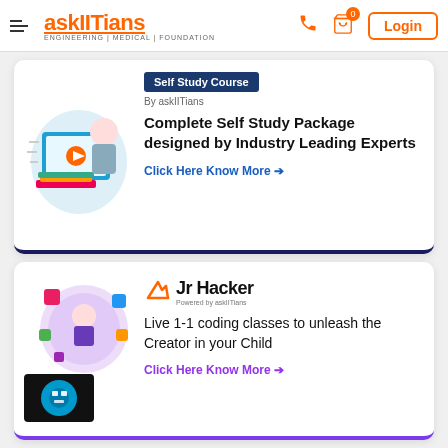askIITians — ENGINEERING | MEDICAL | FOUNDATION — Login
[Figure (screenshot): Self Study Course card with illustration of student and computer]
Self Study Course
By askIITians
Complete Self Study Package designed by Industry Leading Experts
Click Here Know More →
[Figure (logo): Jr Hacker logo powered by askIITians with coding illustration]
Live 1-1 coding classes to unleash the Creator in your Child
Click Here Know More →